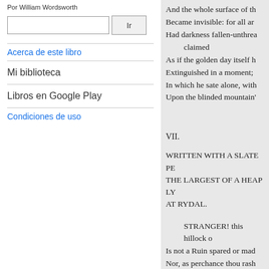Por William Wordsworth
Acerca de este libro
Mi biblioteca
Libros en Google Play
Condiciones de uso
And the whole surface of th
Became invisible: for all ar
Had darkness fallen-unthrea
    claimed
As if the golden day itself h
Extinguished in a moment;
In which he sate alone, with
Upon the blinded mountain'
VII.
WRITTEN WITH A SLATE PE
THE LARGEST OF A HEAP LY
AT RYDAL.
STRANGER! this hillock o
Is not a Ruin spared or mad
Nor, as perchance thou rash